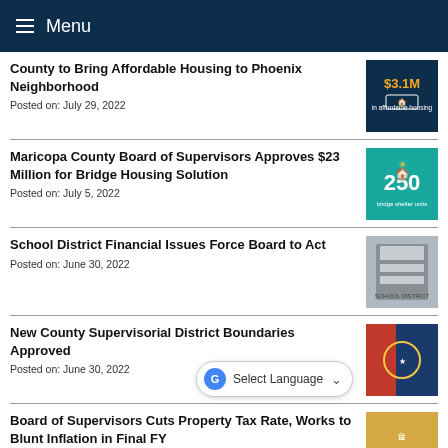Menu
County to Bring Affordable Housing to Phoenix Neighborhood
Posted on: July 29, 2022
Maricopa County Board of Supervisors Approves $23 Million for Bridge Housing Solution
Posted on: July 5, 2022
School District Financial Issues Force Board to Act
Posted on: June 30, 2022
New County Supervisorial District Boundaries Approved
Posted on: June 30, 2022
Board of Supervisors Cuts Property Tax Rate, Works to Blunt Inflation in Final FY...